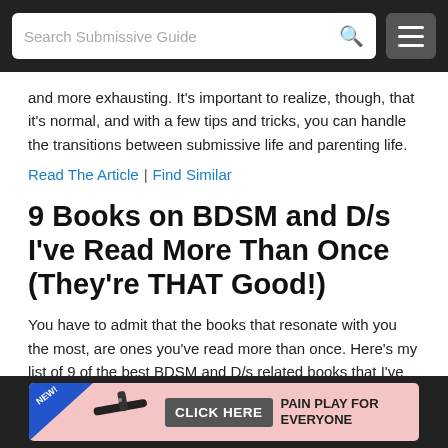Search Submissive Guide
and more exhausting. It's important to realize, though, that it's normal, and with a few tips and tricks, you can handle the transitions between submissive life and parenting life.
Read The Article | Find Similar
9 Books on BDSM and D/s I've Read More Than Once (They're THAT Good!)
You have to admit that the books that resonate with you the most, are ones you've read more than once. Here's my list of 9 of the best BDSM and D/s related books that I've pulled off the shelf time and time again.
Read The Article | Find Similar
Contracts as a Road Map to Ever-
[Figure (infographic): Advertisement banner: blue triangle badge with 'NEW!' text, a black paddle/spanking implement, a dark button labeled 'CLICK HERE', and text reading 'PAIN PLAY FOR EVERYONE']